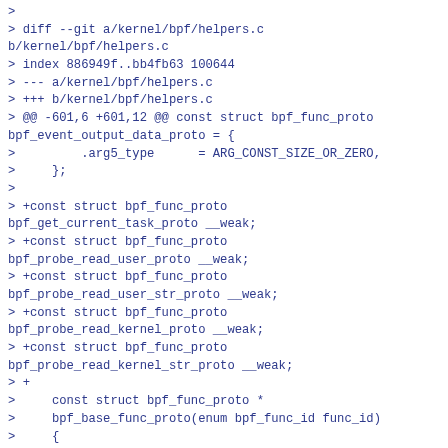>
> diff --git a/kernel/bpf/helpers.c b/kernel/bpf/helpers.c
> index 886949f..bb4fb63 100644
> --- a/kernel/bpf/helpers.c
> +++ b/kernel/bpf/helpers.c
> @@ -601,6 +601,12 @@ const struct bpf_func_proto bpf_event_output_data_proto = {
>         .arg5_type      = ARG_CONST_SIZE_OR_ZERO,
>     };
>
> +const struct bpf_func_proto bpf_get_current_task_proto __weak;
> +const struct bpf_func_proto bpf_probe_read_user_proto __weak;
> +const struct bpf_func_proto bpf_probe_read_user_str_proto __weak;
> +const struct bpf_func_proto bpf_probe_read_kernel_proto __weak;
> +const struct bpf_func_proto bpf_probe_read_kernel_str_proto __weak;
> +
>     const struct bpf_func_proto *
>     bpf_base_func_proto(enum bpf_func_id func_id)
>     {
> @@ -648,6 +654,24 @@ bpf_base_func_proto(enum bpf_func_id func_id)
>         case BPF_FUNC_jiffies64:
>                 return &bpf_jiffies64_proto;
>         default: